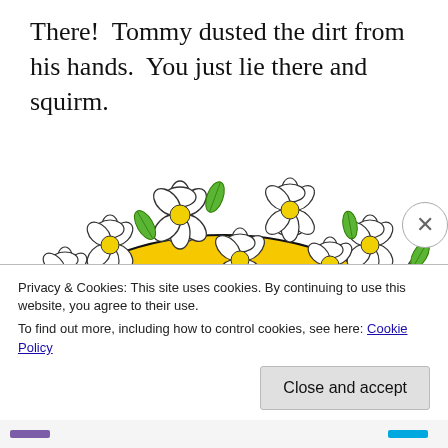There!  Tommy dusted the dirt from his hands.  You just lie there and squirm.
[Figure (illustration): Colorful illustration showing the top half of a large decorative egg or ball covered with white flowers with yellow centers and green leaves, set against a yellow and red striped background. The flowers are drawn in a flat cartoon style.]
Privacy & Cookies: This site uses cookies. By continuing to use this website, you agree to their use.
To find out more, including how to control cookies, see here: Cookie Policy
Close and accept